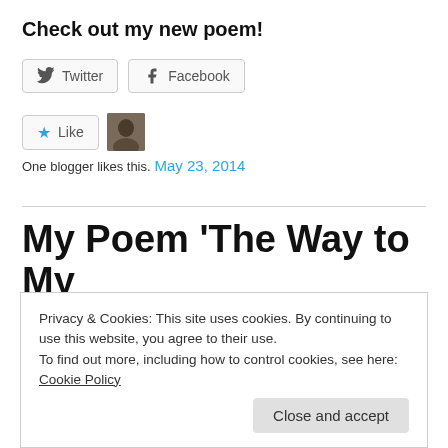Check out my new poem!
[Figure (other): Twitter and Facebook share buttons]
[Figure (other): Like button with star icon and user avatar thumbnail]
One blogger likes this.
May 23, 2014
My Poem ‘The Way to My
Privacy & Cookies: This site uses cookies. By continuing to use this website, you agree to their use.
To find out more, including how to control cookies, see here: Cookie Policy
Close and accept